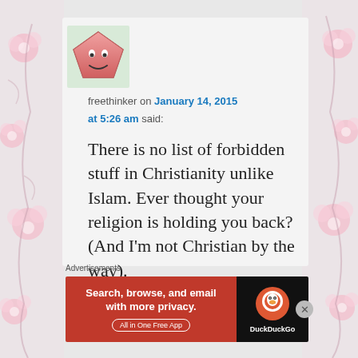[Figure (illustration): Decorative floral pink border on left and right sides of the page]
[Figure (illustration): Avatar: pink pentagon-shaped smiley face character on a white/green background square]
freethinker on January 14, 2015 at 5:26 am said:
There is no list of forbidden stuff in Christianity unlike Islam. Ever thought your religion is holding you back? (And I'm not Christian by the way).
Advertisements
[Figure (screenshot): DuckDuckGo advertisement banner: red background with white text 'Search, browse, and email with more privacy. All in One Free App' and DuckDuckGo logo on black background on the right]